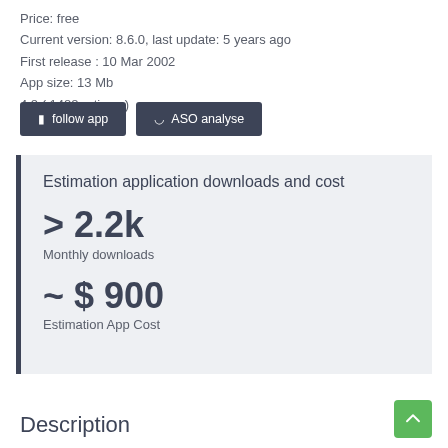Price: free
Current version: 8.6.0, last update: 5 years ago
First release : 10 Mar 2002
App size: 13 Mb
4.8 ( 1488 ratings )
follow app   ASO analyse
Estimation application downloads and cost
> 2.2k
Monthly downloads
~ $ 900
Estimation App Cost
Description